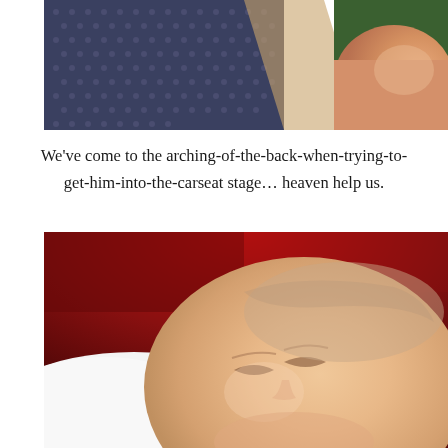[Figure (photo): Close-up photo of a baby in a car seat showing blue dotted fabric and baby's skin/legs with green clothing visible]
We've come to the arching-of-the-back-when-trying-to-get-him-into-the-carseat stage… heaven help us.
[Figure (photo): Close-up photo of a sleeping baby with eyes closed, resting on white fabric with red background visible at top]